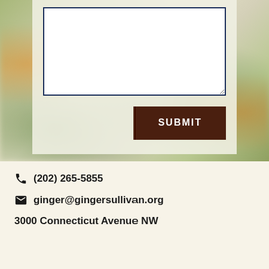[Figure (screenshot): Blurred background photo with orange and green bokeh, overlaid with a semi-transparent form card containing a textarea and a dark brown SUBMIT button]
(202) 265-5855
ginger@gingersullivan.org
3000 Connecticut Avenue NW